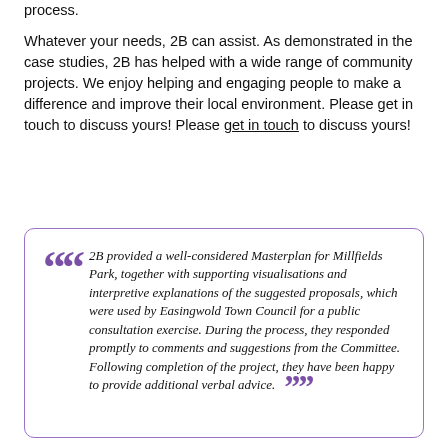process.
Whatever your needs, 2B can assist. As demonstrated in the case studies, 2B has helped with a wide range of community projects. We enjoy helping and engaging people to make a difference and improve their local environment. Please get in touch to discuss yours! Please get in touch to discuss yours!
2B provided a well-considered Masterplan for Millfields Park, together with supporting visualisations and interpretive explanations of the suggested proposals, which were used by Easingwold Town Council for a public consultation exercise. During the process, they responded promptly to comments and suggestions from the Committee. Following completion of the project, they have been happy to provide additional verbal advice.